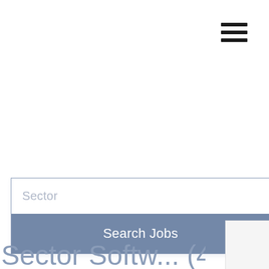[Figure (other): Hamburger menu icon with three horizontal black bars in the top-right corner]
[Figure (screenshot): Job search UI widget with a 'Sector' text input field and a 'Search Jobs' button on a steel-blue background]
Sector Softw... (41)